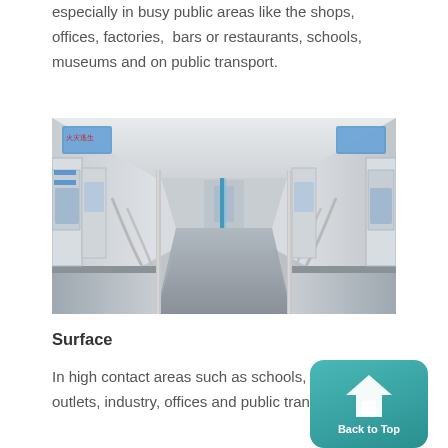especially in busy public areas like the shops, offices, factories,  bars or restaurants, schools, museums and on public transport.
[Figure (photo): Interior of an empty modern subway/metro train car showing stainless steel seats, vertical poles, windows and doors, with a long corridor perspective view.]
Surface
In high contact areas such as schools, retail outlets, industry, offices and public transportation
[Figure (other): Back to Top button with upward arrow icon on a teal/green rounded rectangle background]